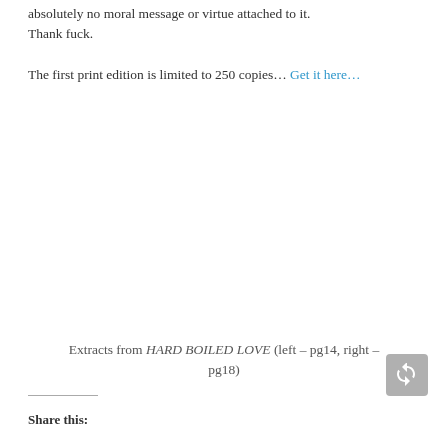absolutely no moral message or virtue attached to it. Thank fuck.
The first print edition is limited to 250 copies... Get it here...
Extracts from HARD BOILED LOVE (left – pg14, right – pg18)
Share this: